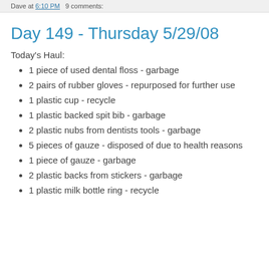Dave at 6:10 PM   9 comments:
Day 149 - Thursday 5/29/08
Today's Haul:
1 piece of used dental floss - garbage
2 pairs of rubber gloves - repurposed for further use
1 plastic cup - recycle
1 plastic backed spit bib - garbage
2 plastic nubs from dentists tools - garbage
5 pieces of gauze - disposed of due to health reasons
1 piece of gauze - garbage
2 plastic backs from stickers - garbage
1 plastic milk bottle ring - recycle